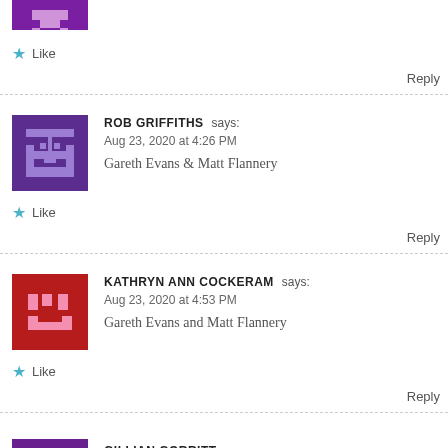[Figure (illustration): Purple/pink pixel art avatar (partially visible at top)]
★ Like
Reply
[Figure (illustration): Purple/light-blue pixel art avatar for Rob Griffiths]
ROB GRIFFITHS says: Aug 23, 2020 at 4:26 PM
Gareth Evans & Matt Flannery
★ Like
Reply
[Figure (illustration): Red/pink pixel art avatar for Kathryn Ann Cockeram]
KATHRYN ANN COCKERAM says: Aug 23, 2020 at 4:53 PM
Gareth Evans and Matt Flannery
★ Like
Reply
[Figure (illustration): Purple pixel art avatar for Gillian Gorritt (partially visible)]
GILLIAN GORRITT